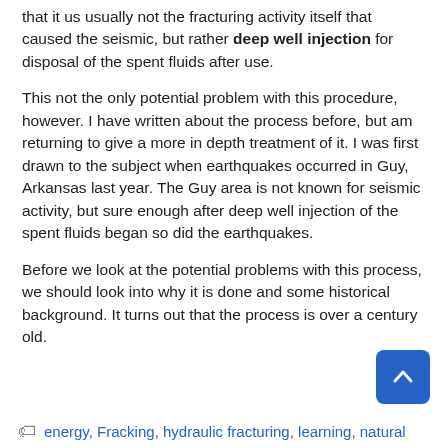that it us usually not the fracturing activity itself that caused the seismic, but rather deep well injection for disposal of the spent fluids after use.
This not the only potential problem with this procedure, however.  I have written about the process before, but am returning to give a more in depth treatment of it.  I was first drawn to the subject when earthquakes occurred in Guy, Arkansas last year.  The Guy area is not known for seismic activity, but sure enough after deep well injection of the spent fluids began so did the earthquakes.
Before we look at the potential problems with this process, we should look into why it is done and some historical background.  It turns out that the process is over a century old.
energy, Fracking, hydraulic fracturing, learning, natural